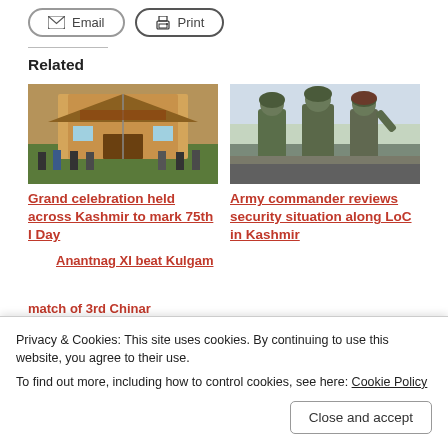Email
Print
Related
[Figure (photo): People gathered at what appears to be District Police Lines Pulwama building for a grand Independence Day celebration]
Grand celebration held across Kashmir to mark 75th I Day
[Figure (photo): Army commander in military uniform reviewing troops, soldiers in green berets visible]
Army commander reviews security situation along LoC in Kashmir
Anantnag XI beat Kulgam
match of 3rd Chinar
Privacy & Cookies: This site uses cookies. By continuing to use this website, you agree to their use.
To find out more, including how to control cookies, see here: Cookie Policy
Close and accept